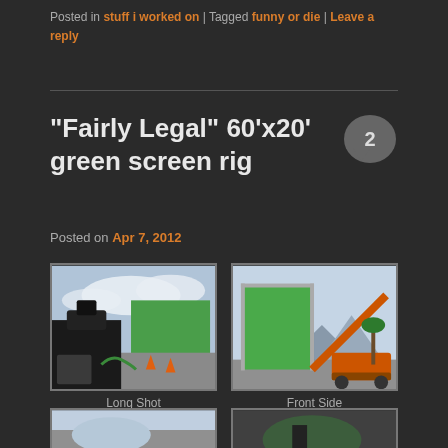Posted in stuff i worked on | Tagged funny or die | Leave a reply
“Fairly Legal” 60’x20’ green screen rig
Posted on Apr 7, 2012
[Figure (photo): Long shot of green screen rig with film camera equipment in foreground, parking lot setting]
Long Shot
[Figure (photo): Front side view of large green screen panel on metal frame rig with orange crane/forklift]
Front Side
[Figure (photo): Partial photo, bottom of page, cut off]
[Figure (photo): Partial photo, bottom of page, cut off]